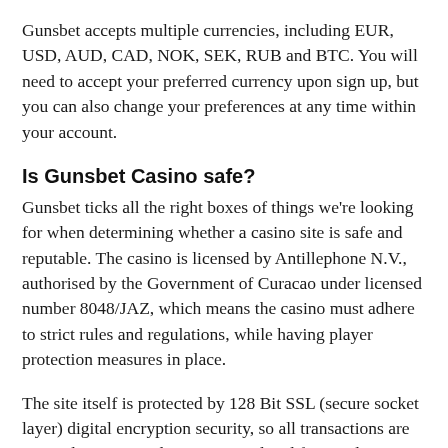Gunsbet accepts multiple currencies, including EUR, USD, AUD, CAD, NOK, SEK, RUB and BTC. You will need to accept your preferred currency upon sign up, but you can also change your preferences at any time within your account.
Is Gunsbet Casino safe?
Gunsbet ticks all the right boxes of things we're looking for when determining whether a casino site is safe and reputable. The casino is licensed by Antillephone N.V., authorised by the Government of Curacao under licensed number 8048/JAZ, which means the casino must adhere to strict rules and regulations, while having player protection measures in place.
The site itself is protected by 128 Bit SSL (secure socket layer) digital encryption security, so all transactions are secured to protect players personal and financial